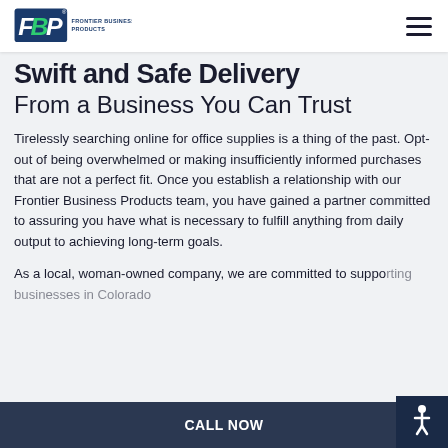FBP Frontier Business Products [logo] [hamburger menu]
Swift and Safe Delivery
From a Business You Can Trust
Tirelessly searching online for office supplies is a thing of the past. Opt-out of being overwhelmed or making insufficiently informed purchases that are not a perfect fit. Once you establish a relationship with our Frontier Business Products team, you have gained a partner committed to assuring you have what is necessary to fulfill anything from daily output to achieving long-term goals.
As a local, woman-owned company, we are committed to supporting businesses in Colorado
CALL NOW